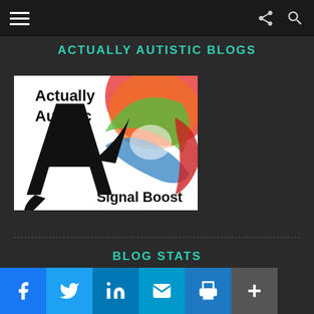Navigation bar with hamburger menu, share icon, search icon
ACTUALLY AUTISTIC BLOGS
[Figure (logo): Actually Autistic Signal Boost logo — white background with black stylized letter A and colorful rainbow swirl on the right, text 'Actually Autistic' top-left and 'Signal Boost' bottom-right]
BLOG STATS
Social share bar: Facebook, Twitter, LinkedIn, Email, Print, More